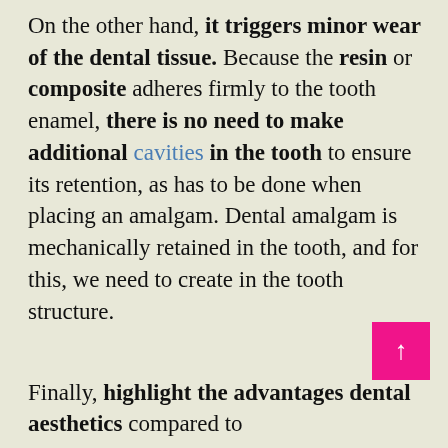On the other hand, it triggers minor wear of the dental tissue. Because the resin or composite adheres firmly to the tooth enamel, there is no need to make additional cavities in the tooth to ensure its retention, as has to be done when placing an amalgam. Dental amalgam is mechanically retained in the tooth, and for this, we need to create in the tooth structure.
Finally, highlight the advantages dental aesthetics compared to